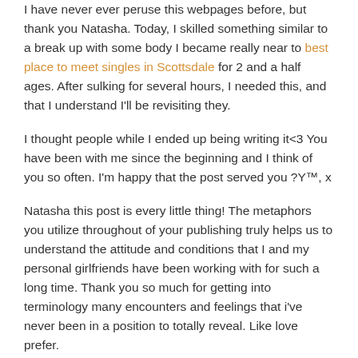I have never ever peruse this webpages before, but thank you Natasha. Today, I skilled something similar to a break up with some body I became really near to best place to meet singles in Scottsdale for 2 and a half ages. After sulking for several hours, I needed this, and that I understand I'll be revisiting they.
I thought people while I ended up being writing it<3 You have been with me since the beginning and I think of you so often. I'm happy that the post served you ?Y™, x
Natasha this post is every little thing! The metaphors you utilize throughout of your publishing truly helps us to understand the attitude and conditions that I and my personal girlfriends have been working with for such a long time. Thank you so much for getting into terminology many encounters and feelings that i've never been in a position to totally reveal. Like love prefer.